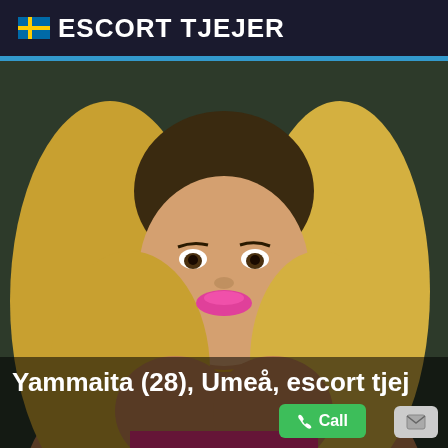ESCORT TJEJER
[Figure (photo): Portrait photo of a blonde woman with pink lipstick and gold jewelry against a dark background]
Yammaita (28), Umeå, escort tjej